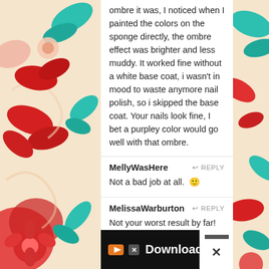ombre it was, I noticed when I painted the colors on the sponge directly, the ombre effect was brighter and less muddy. It worked fine without a white base coat, i wasn't in mood to waste anymore nail polish, so i skipped the base coat. Your nails look fine, I bet a purpley color would go well with that ombre.
MellyWasHere
Not a bad job at all. 🙂
MelissaWarburton
Not your worst result by far!
alirae17
I think your problem is that you used opposite colors. (Excuse me while I get a bit technical, I'm a graphic designer) Blue and orange are opposites on the color wheel, when mixed together make (usually) brown or (theoretically) grey. If you had paired your mango with
[Figure (illustration): Decorative floral pattern on left side with red, teal, and cream colors]
[Figure (illustration): Decorative floral pattern on right side with red, teal, and cream colors]
Download Helbiz and ride